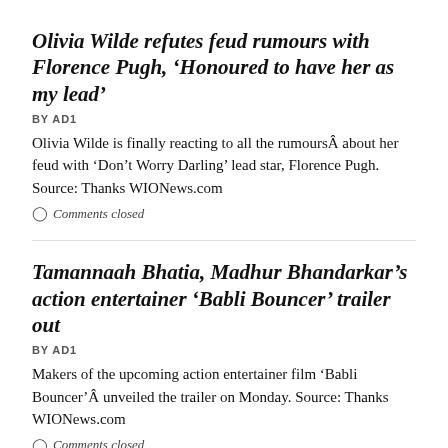Olivia Wilde refutes feud rumours with Florence Pugh, ‘Honoured to have her as my lead’
BY AD1
Olivia Wilde is finally reacting to all the rumoursÂ about her feud with ‘Don’t Worry Darling’ lead star, Florence Pugh. Source: Thanks WIONews.com
Comments closed
Tamannaah Bhatia, Madhur Bhandarkar’s action entertainer ‘Babli Bouncer’ trailer out
BY AD1
Makers of the upcoming action entertainer film ‘Babli Bouncer’Â unveiled the trailer on Monday. Source: Thanks WIONews.com
Comments closed
Film legend Paul Schrader is seriously ill but on